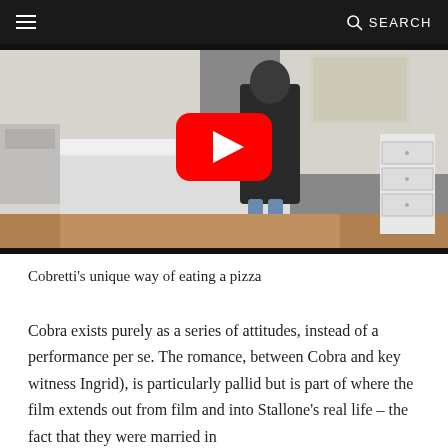≡  🔍 SEARCH
[Figure (screenshot): Video thumbnail showing a person standing near a white desk in a room, with a YouTube play button overlay in the center.]
Cobretti's unique way of eating a pizza
Cobra exists purely as a series of attitudes, instead of a performance per se. The romance, between Cobra and key witness Ingrid), is particularly pallid but is part of where the film extends out from film and into Stallone's real life – the fact that they were married in